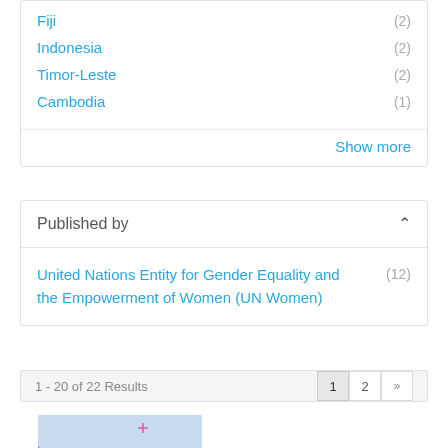Fiji (2)
Indonesia (2)
Timor-Leste (2)
Cambodia (1)
Show more
Published by
United Nations Entity for Gender Equality and the Empowerment of Women (UN Women) (12)
1 - 20 of 22 Results
[Figure (illustration): Book cover thumbnail showing a landscape with mountains and a path, with colorful curved shapes on the left side]